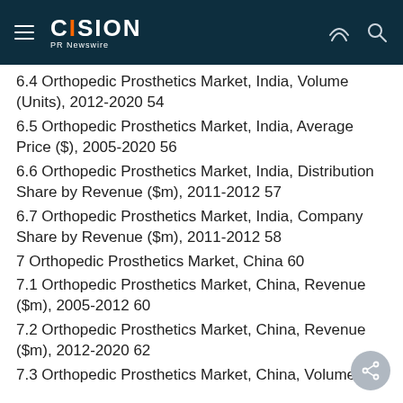CISION PR Newswire
6.4 Orthopedic Prosthetics Market, India, Volume (Units), 2012-2020 54
6.5 Orthopedic Prosthetics Market, India, Average Price ($), 2005-2020 56
6.6 Orthopedic Prosthetics Market, India, Distribution Share by Revenue ($m), 2011-2012 57
6.7 Orthopedic Prosthetics Market, India, Company Share by Revenue ($m), 2011-2012 58
7 Orthopedic Prosthetics Market, China 60
7.1 Orthopedic Prosthetics Market, China, Revenue ($m), 2005-2012 60
7.2 Orthopedic Prosthetics Market, China, Revenue ($m), 2012-2020 62
7.3 Orthopedic Prosthetics Market, China, Volume